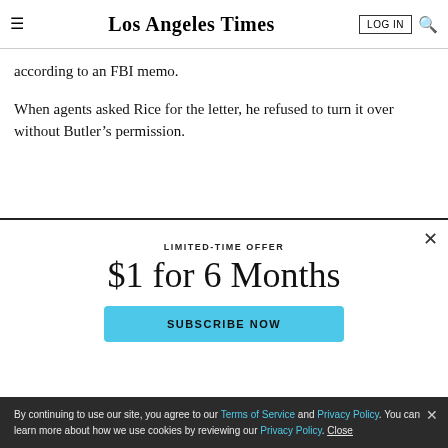Los Angeles Times | LOG IN
according to an FBI memo.
When agents asked Rice for the letter, he refused to turn it over without Butler’s permission.
LIMITED-TIME OFFER
$1 for 6 Months
SUBSCRIBE NOW
By continuing to use our site, you agree to our Terms of Service and Privacy Policy. You can learn more about how we use cookies by reviewing our Privacy Policy. Close